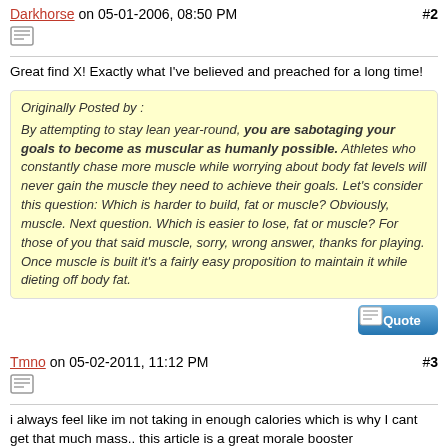Darkhorse on 05-01-2006, 08:50 PM  #2
Great find X! Exactly what I've believed and preached for a long time!
Originally Posted by :
By attempting to stay lean year-round, you are sabotaging your goals to become as muscular as humanly possible. Athletes who constantly chase more muscle while worrying about body fat levels will never gain the muscle they need to achieve their goals. Let's consider this question: Which is harder to build, fat or muscle? Obviously, muscle. Next question. Which is easier to lose, fat or muscle? For those of you that said muscle, sorry, wrong answer, thanks for playing. Once muscle is built it's a fairly easy proposition to maintain it while dieting off body fat.
Tmno on 05-02-2011, 11:12 PM  #3
i always feel like im not taking in enough calories which is why I cant get that much mass.. this article is a great morale booster